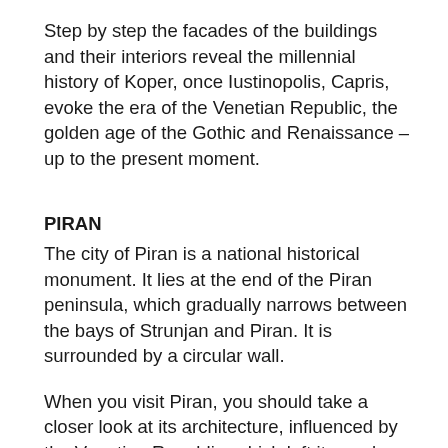Step by step the facades of the buildings and their interiors reveal the millennial history of Koper, once Iustinopolis, Capris, evoke the era of the Venetian Republic, the golden age of the Gothic and Renaissance – up to the present moment.
PIRAN
The city of Piran is a national historical monument. It lies at the end of the Piran peninsula, which gradually narrows between the bays of Strunjan and Piran. It is surrounded by a circular wall.
When you visit Piran, you should take a closer look at its architecture, influenced by the Venetian Republic, which left its mark on most Istrian towns. Throughout time, Piran maintained the clustered medieval structure of narrow winding streets, houses huddled close together, rising in cascades, the contact with the sea, numerous squares and churches. The Church of St. George, the patron